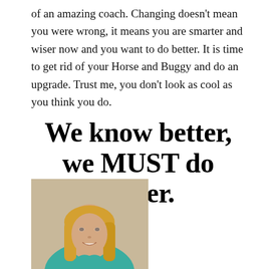of an amazing coach. Changing doesn't mean you were wrong, it means you are smarter and wiser now and you want to do better. It is time to get rid of your Horse and Buggy and do an upgrade. Trust me, you don't look as cool as you think you do.
We know better, we MUST do better.
[Figure (photo): Portrait photo of a smiling blonde woman wearing a teal/turquoise shirt, against a tan/beige background]